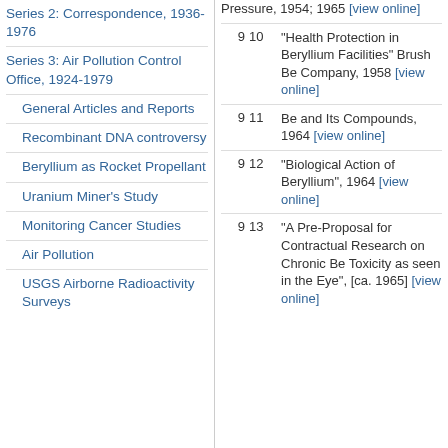Series 2: Correspondence, 1936-1976
Series 3: Air Pollution Control Office, 1924-1979
General Articles and Reports
Recombinant DNA controversy
Beryllium as Rocket Propellant
Uranium Miner's Study
Monitoring Cancer Studies
Air Pollution
USGS Airborne Radioactivity Surveys
9  10  "Health Protection in Beryllium Facilities" Brush Be Company, 1958 [view online]
9  11  Be and Its Compounds, 1964 [view online]
9  12  "Biological Action of Beryllium", 1964 [view online]
9  13  "A Pre-Proposal for Contractual Research on Chronic Be Toxicity as seen in the Eye", [ca. 1965] [view online]
Pressure, 1954; 1965 [view online]